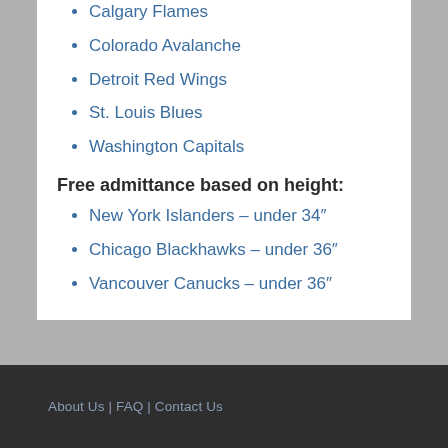Calgary Flames
Colorado Avalanche
Detroit Red Wings
St. Louis Blues
Washington Capitals
Free admittance based on height:
New York Islanders – under 34″
Chicago Blackhawks – under 36″
Vancouver Canucks – under 36″
About Us | FAQ | Contact Us